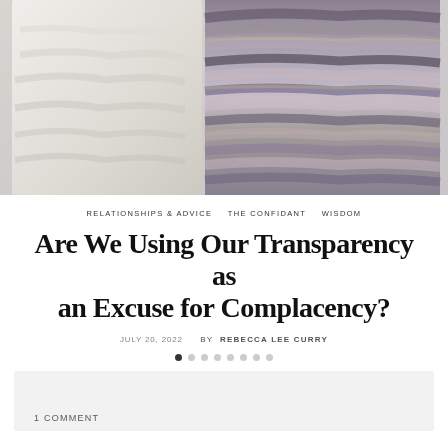[Figure (photo): Fashion photo showing two models wearing fur coats — one cream/white textured coat on the left and one layered grey/purple/black fur coat on the right, against a light grey background.]
RELATIONSHIPS & ADVICE   THE CONFIDANT   WISDOM
Are We Using Our Transparency as an Excuse for Complacency?
JULY 20, 2022   BY REBECCA LEE CURRY
1 COMMENT